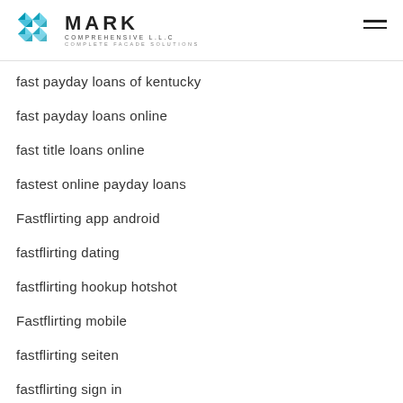MARK COMPREHENSIVE LLC – COMPLETE FACADE SOLUTIONS
fast payday loans of kentucky
fast payday loans online
fast title loans online
fastest online payday loans
Fastflirting app android
fastflirting dating
fastflirting hookup hotshot
Fastflirting mobile
fastflirting seiten
fastflirting sign in